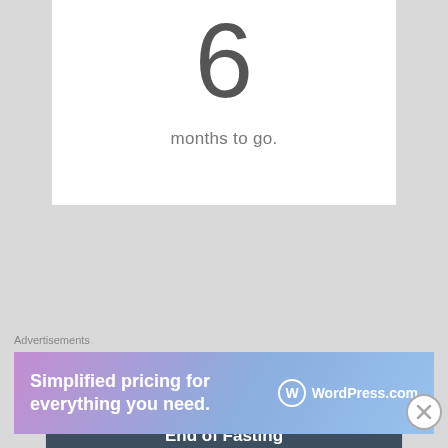6
months to go.
EID'L FITR 1444
End of Fasting
April 23, 2023
7
Advertisements
[Figure (other): WordPress.com advertisement banner: 'Simplified pricing for everything you need.' with WordPress.com logo on gradient background]